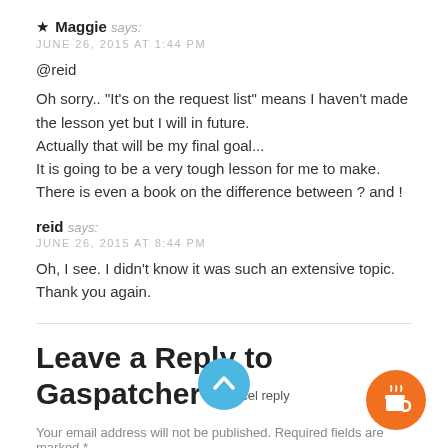★ Maggie says: JUNE 26, 2015 AT 1:44 PM
@reid

Oh sorry.. "It's on the request list" means I haven't made the lesson yet but I will in future.
Actually that will be my final goal...
It is going to be a very tough lesson for me to make. There is even a book on the difference between ？ and ！
reid says: JUNE 26, 2015 AT 8:44 PM
Oh, I see. I didn't know it was such an extensive topic. Thank you again.
Leave a Reply to Gaspatcher Cancel reply
Your email address will not be published. Required fields are marked *
Comment